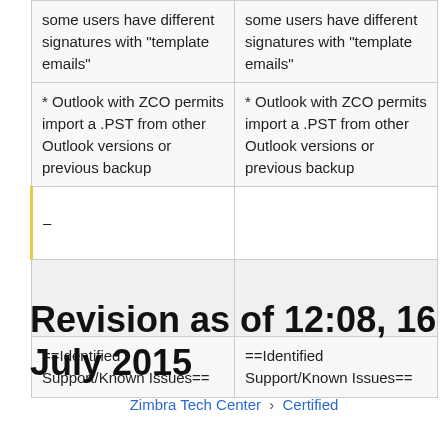|  |  |
| --- | --- |
| some users have different signatures with "template emails" | some users have different signatures with "template emails" |
| * Outlook with ZCO permits import a .PST from other Outlook versions or previous backup | * Outlook with ZCO permits import a .PST from other Outlook versions or previous backup |
| – |  |
|  |  |
| ==Identified Support/Known Issues== | ==Identified Support/Known Issues== |
Revision as of 12:08, 16 July 2015
Zimbra Tech Center › Certified